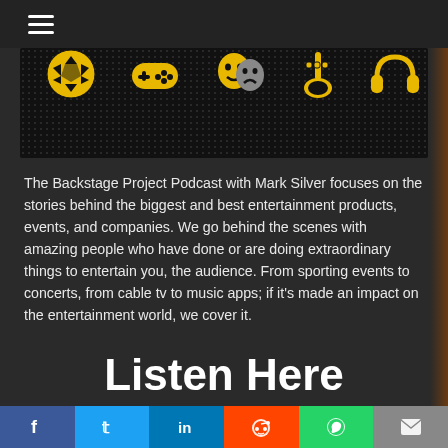[Figure (illustration): Top dark navigation bar with hamburger menu icon (three horizontal lines)]
[Figure (illustration): Banner image with dark dotted background featuring yellow/gold icons: soccer ball, game controller, theater masks, trumpet, headphones]
The Backstage Project Podcast with Mark Silver focuses on the stories behind the biggest and best entertainment products, events, and companies. We go behind the scenes with amazing people who have done or are doing extraordinary things to entertain you, the audience. From sporting events to concerts, from cable tv to music apps; if it's made an impact on the entertainment world, we cover it.
Listen Here
[Figure (illustration): Podcast card area showing The Backstage thumbnail on the left and Spotify icon on the right, on a dark rounded card]
[Figure (illustration): Social share bar at bottom with icons for Facebook (blue), Twitter (light blue), LinkedIn (dark blue), Reddit (orange-red), WhatsApp (green), and Email (grey)]